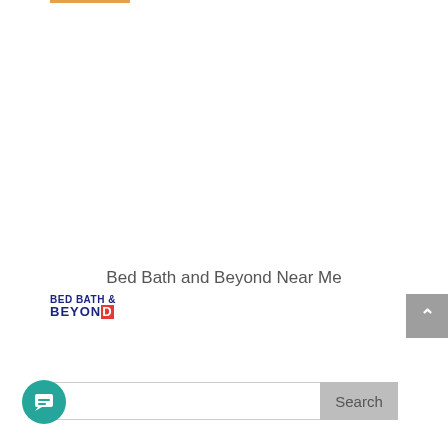[Figure (logo): Orange bar/accent at top of page]
Bed Bath and Beyond Near Me
[Figure (logo): Bed Bath & Beyond logo — dark blue bold text with red D]
[Figure (screenshot): Gray scroll-to-top button with white up arrow chevron]
[Figure (screenshot): Search bar with text input and gray Search button]
[Figure (screenshot): Teal circular chat button with white message icon]